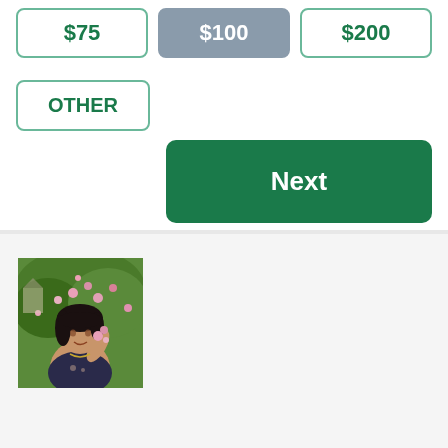[Figure (other): Donation amount selection buttons showing $75, $100 (selected/highlighted in grey-blue), and $200 options with green borders]
[Figure (other): OTHER button with green border for custom donation amount entry]
[Figure (other): Dark green Next button for proceeding to next step]
[Figure (photo): Photo of a woman with dark hair wearing a floral dress, posing near pink flowering bushes outdoors]